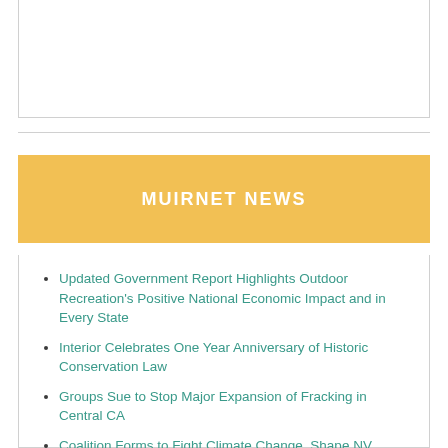MUIRNET NEWS
Updated Government Report Highlights Outdoor Recreation's Positive National Economic Impact and in Every State
Interior Celebrates One Year Anniversary of Historic Conservation Law
Groups Sue to Stop Major Expansion of Fracking in Central CA
Coalition Forms to Fight Climate Change, Shape NV Public-Lands Bill